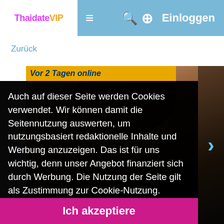ThaidateVIP  ≡  🔍 ⊕  Einloggen
Zurück
[Figure (screenshot): Profile photo of a woman with dark hair, partially visible behind cookie consent overlay. Yellow bar reads 'Vor 2 Tagen online'. Right side shows a blue chevron arrow.]
Auch auf dieser Seite werden Cookies verwendet. Wir können damit die Seitennutzung auswerten, um nutzungsbasiert redaktionelle Inhalte und Werbung anzuzeigen. Das ist für uns wichtig, denn unser Angebot finanziert sich durch Werbung. Die Nutzung der Seite gilt als Zustimmung zur Cookie-Nutzung.
Weitere Infos und Optionen
Ich akzeptiere